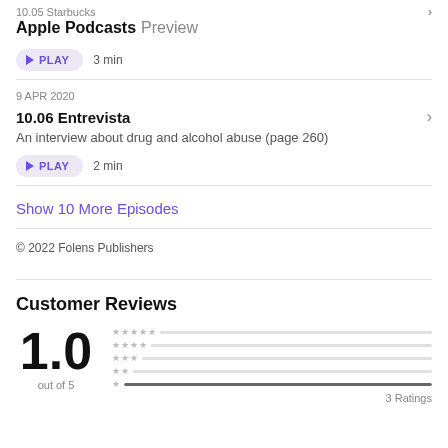10.05 Starbucks
Apple Podcasts Preview
PLAY  3 min
9 APR 2020
10.06 Entrevista
An interview about drug and alcohol abuse (page 260)
PLAY  2 min
Show 10 More Episodes
© 2022 Folens Publishers
Customer Reviews
1.0
out of 5
3 Ratings